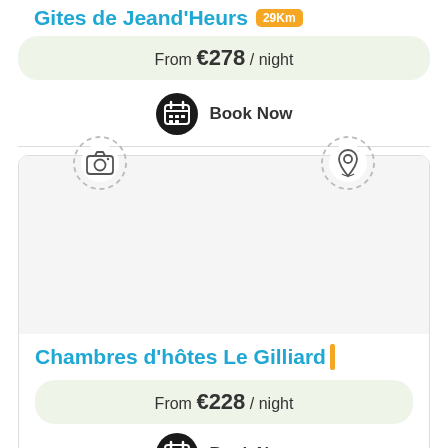Gites de Jeand'Heurs 29Km
From €278 / night
Book Now
[Figure (illustration): Camera icon in dashed circle]
[Figure (illustration): Location pin icon in dashed circle]
Chambres d'hôtes Le Gilliard
From €228 / night
Book Now